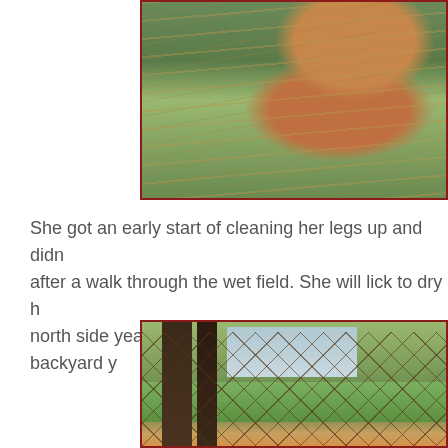[Figure (photo): A brown deer/dog sniffing or grazing in a grassy field with tall dry grass and green vegetation]
She got an early start of cleaning her legs up and didn after a walk through the wet field. She will lick to dry h north side year nor this north section of the backyard y
[Figure (photo): A fenced backyard with trees, wire/mesh fencing, and a brown animal (deer or dog) visible at the bottom]